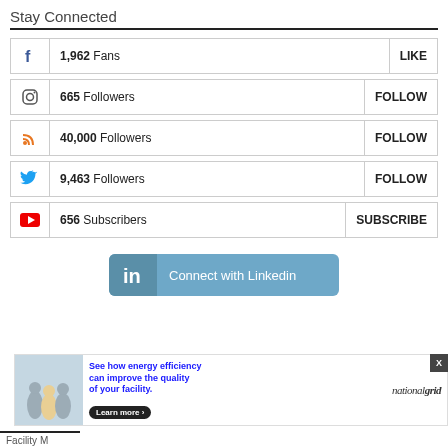Stay Connected
1,962  Fans  LIKE
665  Followers  FOLLOW
40,000  Followers  FOLLOW
9,463  Followers  FOLLOW
656  Subscribers  SUBSCRIBE
[Figure (infographic): LinkedIn connect button - blue rounded rectangle with 'in' logo and text 'Connect with Linkedin']
[Figure (infographic): Advertisement banner: national grid ad showing workers in snow, text 'See how energy efficiency can improve the quality of your facility.' with Learn more button and X close button]
Facility M